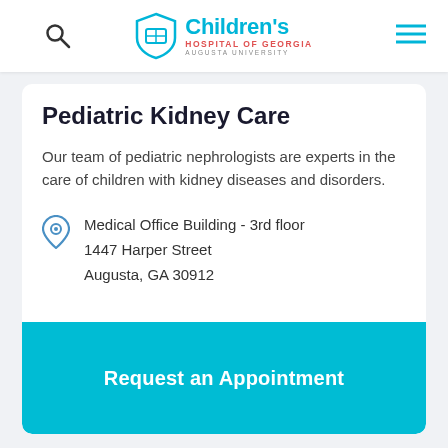Children's Hospital of Georgia – Augusta University
Pediatric Kidney Care
Our team of pediatric nephrologists are experts in the care of children with kidney diseases and disorders.
Medical Office Building - 3rd floor
1447 Harper Street
Augusta, GA 30912
Request an Appointment